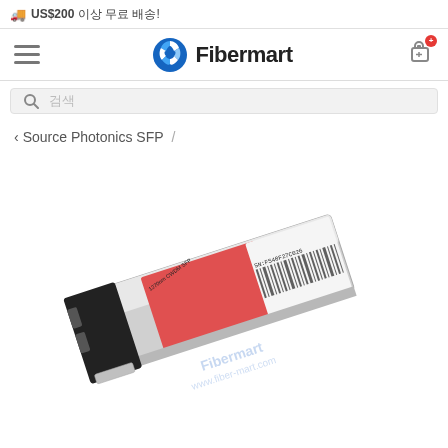US$200 이상 무료 배송!
[Figure (logo): Fibermart logo with blue pinwheel icon and brand name]
Source Photonics SFP /
[Figure (photo): SFP optical transceiver module with red label showing 1270nm CWDM SFP, SN:FS40F27C026, barcode, and Fibermart watermark. www.fiber-mart.com]